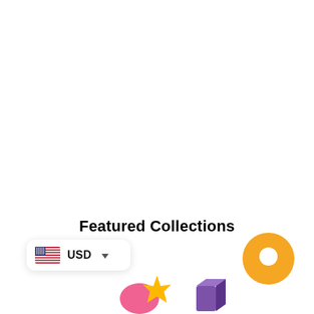Featured Collections
[Figure (illustration): USD currency selector widget with US flag and dropdown arrow]
[Figure (illustration): Orange circular chat bubble icon in bottom right corner]
[Figure (illustration): Colorful toy/puzzle figures (pink and yellow star shapes) at bottom center]
[Figure (illustration): Purple 3D block/building shapes at bottom right area]